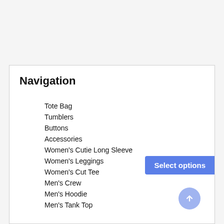Navigation
Tote Bag
Tumblers
Buttons
Accessories
Women's Cutie Long Sleeve
Women's Leggings
Women's Cut Tee
Men's Crew
Men's Hoodie
Men's Tank Top